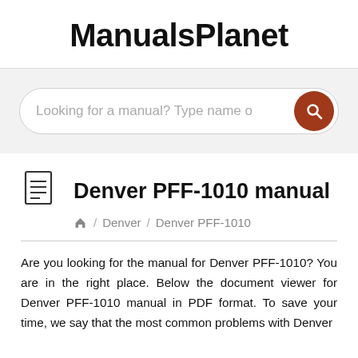ManualsPlanet
[Figure (screenshot): Search bar with placeholder text 'Looking for a manual? Type name o' and a dark red circular search button with magnifier icon]
Denver PFF-1010 manual
/ Denver / Denver PFF-1010
Are you looking for the manual for Denver PFF-1010? You are in the right place. Below the document viewer for Denver PFF-1010 manual in PDF format. To save your time, we say that the most common problems with Denver